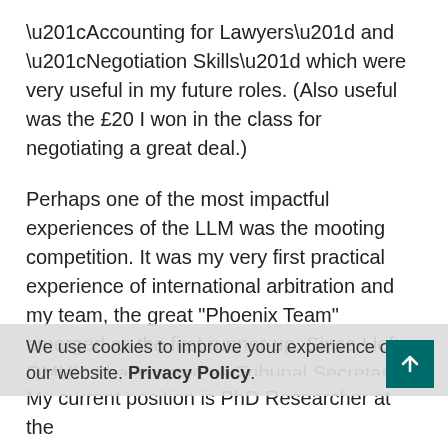“Accounting for Lawyers” and “Negotiation Skills” which were very useful in my future roles. (Also useful was the £20 I won in the class for negotiating a great deal.)
Perhaps one of the most impactful experiences of the LLM was the mooting competition. It was my very first practical experience of international arbitration and my team, the great “Phoenix Team” emerged as the first runner-up. Since I left QMUL, I have acted as Tribunal Secretary or Registrar in a number of arbitrations and I still draw upon that experience for guidance. The transferable skills I honed at QMUL were also indispensable at my job with the Nigerian government.
We use cookies to improve your experience of our website. Privacy Policy.
My current position is PhD Researcher at the